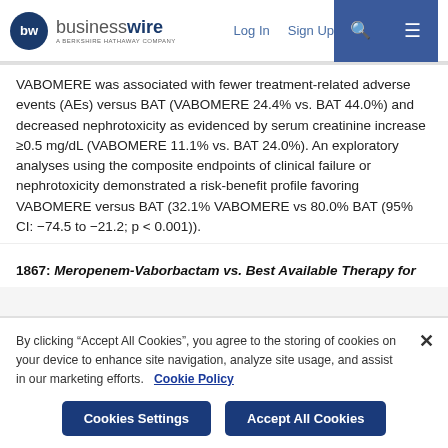businesswire - A Berkshire Hathaway Company | Log In | Sign Up
VABOMERE was associated with fewer treatment-related adverse events (AEs) versus BAT (VABOMERE 24.4% vs. BAT 44.0%) and decreased nephrotoxicity as evidenced by serum creatinine increase ≥0.5 mg/dL (VABOMERE 11.1% vs. BAT 24.0%). An exploratory analyses using the composite endpoints of clinical failure or nephrotoxicity demonstrated a risk-benefit profile favoring VABOMERE versus BAT (32.1% VABOMERE vs 80.0% BAT (95% CI: −74.5 to −21.2; p < 0.001)).
1867: Meropenem-Vaborbactam vs. Best Available Therapy for
By clicking "Accept All Cookies", you agree to the storing of cookies on your device to enhance site navigation, analyze site usage, and assist in our marketing efforts.   Cookie Policy
Cookies Settings | Accept All Cookies